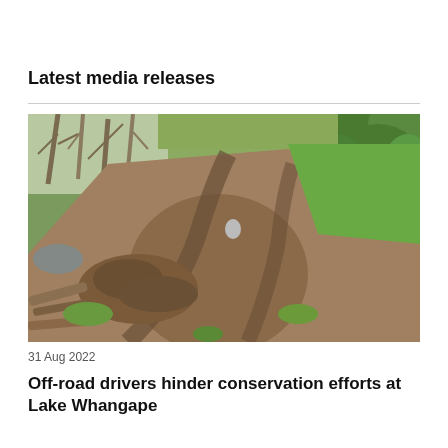Latest media releases
[Figure (photo): A muddy dirt track with deep tyre ruts running through grassland and shrubs. The ground is heavily churned up with tyre tracks visible in the mud. Green grass and bare trees/bushes are on both sides of the track.]
31 Aug 2022
Off-road drivers hinder conservation efforts at Lake Whangape